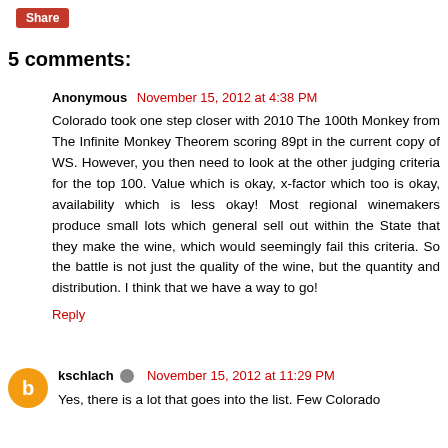Share
5 comments:
Anonymous November 15, 2012 at 4:38 PM
Colorado took one step closer with 2010 The 100th Monkey from The Infinite Monkey Theorem scoring 89pt in the current copy of WS. However, you then need to look at the other judging criteria for the top 100. Value which is okay, x-factor which too is okay, availability which is less okay! Most regional winemakers produce small lots which general sell out within the State that they make the wine, which would seemingly fail this criteria. So the battle is not just the quality of the wine, but the quantity and distribution. I think that we have a way to go!
Reply
kschlach November 15, 2012 at 11:29 PM
Yes, there is a lot that goes into the list. Few Colorado